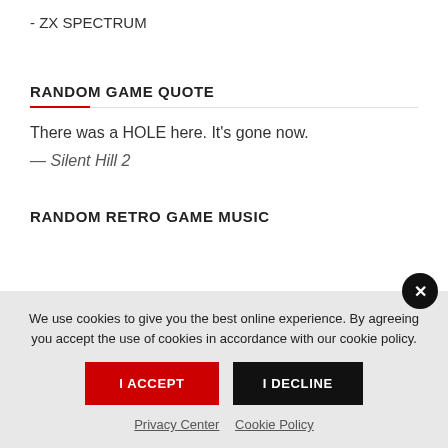- ZX SPECTRUM
RANDOM GAME QUOTE
There was a HOLE here. It's gone now.
— Silent Hill 2
RANDOM RETRO GAME MUSIC
We use cookies to give you the best online experience. By agreeing you accept the use of cookies in accordance with our cookie policy.
I ACCEPT
I DECLINE
Privacy Center   Cookie Policy